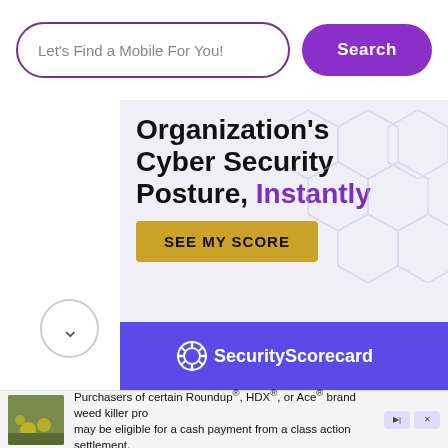[Figure (screenshot): Search bar with placeholder text 'Let’s Find a Mobile For You!' and a purple 'Search' button]
[Figure (screenshot): SecurityScorecard advertisement banner showing 'Organization’s Cyber Security Posture, Instantly' with a golden CTA button 'SEE MY SCORE' and purple footer with SecurityScorecard logo]
[Figure (screenshot): Second SecurityScorecard ad beginning with 'Assess Your Organization’s' text on light purple background with ad choice icons]
[Figure (screenshot): Bottom advertisement strip about Roundup, HDX, or Ace brand weed killer class action settlement]